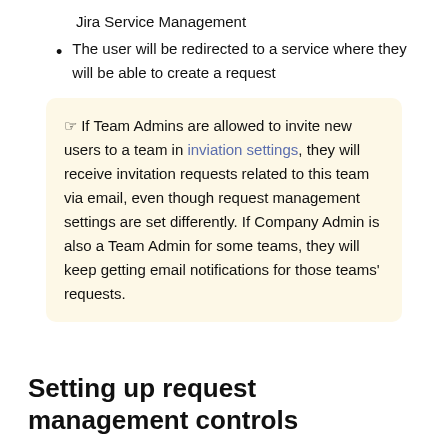Jira Service Management
The user will be redirected to a service where they will be able to create a request
☞ If Team Admins are allowed to invite new users to a team in inviation settings, they will receive invitation requests related to this team via email, even though request management settings are set differently. If Company Admin is also a Team Admin for some teams, they will keep getting email notifications for those teams' requests.
Setting up request management controls
To get to request management controls go to Company settings > ...